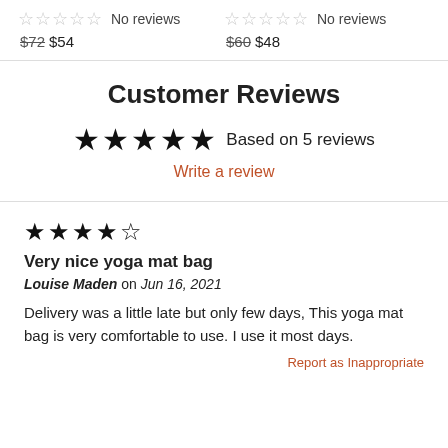No reviews  $72 $54
No reviews  $60 $48
Customer Reviews
★★★★★ Based on 5 reviews
Write a review
★★★★☆
Very nice yoga mat bag
Louise Maden on Jun 16, 2021
Delivery was a little late but only few days, This yoga mat bag is very comfortable to use. I use it most days.
Report as Inappropriate